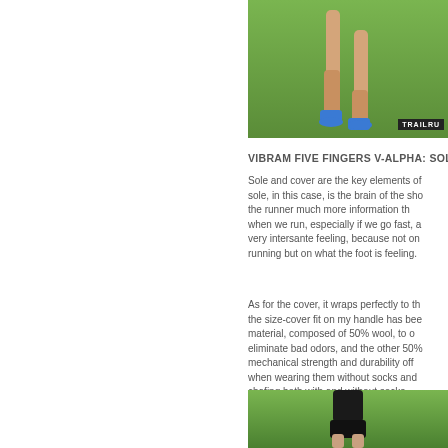[Figure (photo): Close-up photo of runner's legs on green grass with TRAILRU watermark in bottom right corner]
VIBRAM FIVE FINGERS V-ALPHA: SOLE A
Sole and cover are the key elements of sole, in this case, is the brain of the sho the runner much more information th when we run, especially if we go fast, a very intersante feeling, because not on running but on what the foot is feeling
As for the cover, it wraps perfectly to th the size-cover fit on my handle has bee material, composed of 50% wool, to o eliminate bad odors, and the other 50% mechanical strength and durability off when wearing them without socks and chafing both with and without socks.
[Figure (photo): Photo of a runner from behind on green grass wearing black shorts]